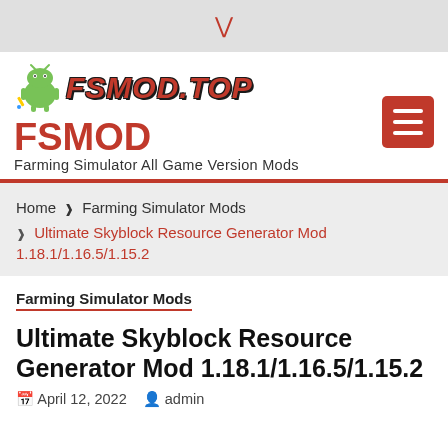▾
[Figure (logo): FSMOD.TOP website logo with Android mascot icon and stylized red italic text 'FSMOD.TOP']
FSMOD
Farming Simulator All Game Version Mods
Home  ❯  Farming Simulator Mods  ❯  Ultimate Skyblock Resource Generator Mod 1.18.1/1.16.5/1.15.2
Farming Simulator Mods
Ultimate Skyblock Resource Generator Mod 1.18.1/1.16.5/1.15.2
📅 April 12, 2022   👤 admin